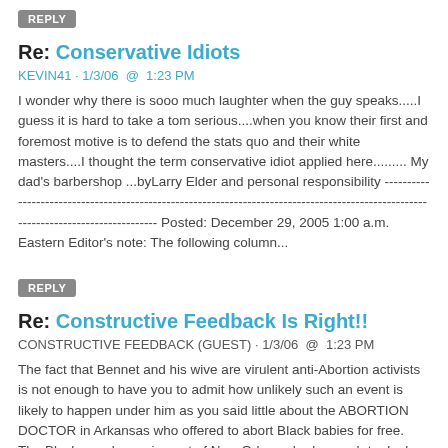REPLY
Re: Conservative Idiots
KEVIN41 · 1/3/06  @  1:23 PM
I wonder why there is sooo much laughter when the guy speaks.....I guess it is hard to take a tom serious....when you know their first and foremost motive is to defend the stats quo and their white masters....I thought the term conservative idiot applied here......... My dad's barbershop ...byLarry Elder and personal responsibility ------------------------------------------------------------------------------------------------------------------------------------ Posted: December 29, 2005 1:00 a.m. Eastern Editor's note: The following column...
REPLY
Re: Constructive Feedback Is Right!!
CONSTRUCTIVE FEEDBACK (GUEST) · 1/3/06  @  1:23 PM
The fact that Bennet and his wive are virulent anti-Abortion activists is not enough to have you to admit how unlikely such an event is likely to happen under him as you said little about the ABORTION DOCTOR in Arkansas who offered to abort Black babies for free. The Black people coming out of New Orleans had enough to deal with - why deal with a kid? Too much of a hasle. Right?